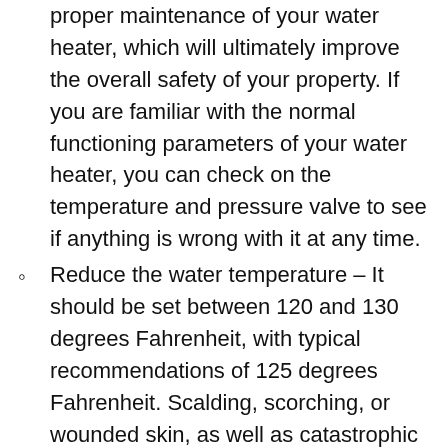proper maintenance of your water heater, which will ultimately improve the overall safety of your property. If you are familiar with the normal functioning parameters of your water heater, you can check on the temperature and pressure valve to see if anything is wrong with it at any time.
Reduce the water temperature – It should be set between 120 and 130 degrees Fahrenheit, with typical recommendations of 125 degrees Fahrenheit. Scalding, scorching, or wounded skin, as well as catastrophic damage to your water heater and sewage system, are all possible consequences of exceeding this limit.
Make an appointment for a yearly tune-up – Keeping on top of your water heater's maintenance should always entail having a